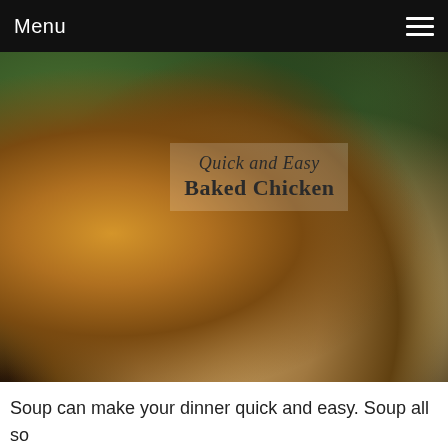Menu
[Figure (photo): Close-up photo of baked chicken with rice on a decorative plate with leaf pattern. Overlay text reads 'Quick and Easy Baked Chicken' in script and bold serif fonts.]
Soup can make your dinner quick and easy. Soup all so add flavor during your cooking that the rest of your